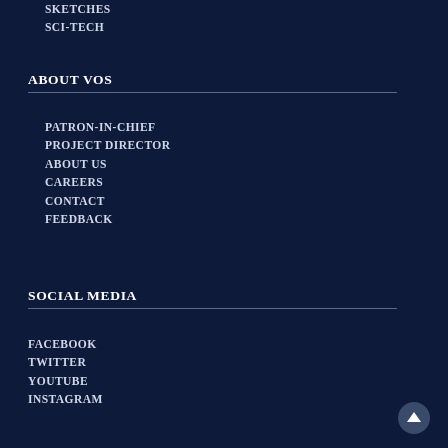SKETCHES
SCI-TECH
ABOUT VOS
PATRON-IN-CHIEF
PROJECT DIRECTOR
ABOUT US
CAREERS
CONTACT
FEEDBACK
SOCIAL MEDIA
FACEBOOK
TWITTER
YOUTUBE
INSTAGRAM